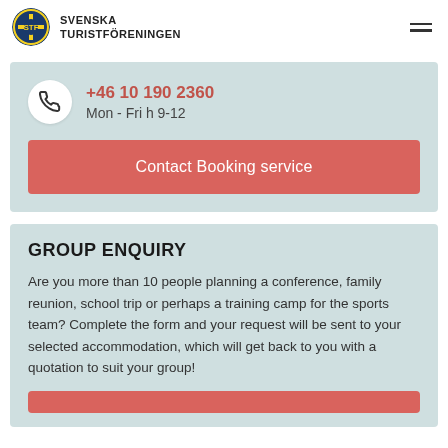[Figure (logo): Svenska Turistföreningen logo with blue/yellow circular badge and organization name text]
+46 10 190 2360
Mon - Fri h 9-12
Contact Booking service
GROUP ENQUIRY
Are you more than 10 people planning a conference, family reunion, school trip or perhaps a training camp for the sports team? Complete the form and your request will be sent to your selected accommodation, which will get back to you with a quotation to suit your group!